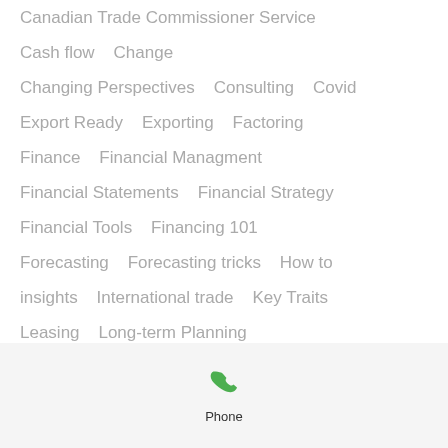Canadian Trade Commissioner Service
Cash flow   Change
Changing Perspectives   Consulting   Covid
Export Ready   Exporting   Factoring
Finance   Financial Managment
Financial Statements   Financial Strategy
Financial Tools   Financing 101
Forecasting   Forecasting tricks   How to
insights   International trade   Key Traits
Leasing   Long-term Planning
management tools   Market Enrty
money management   Money Matters
[Figure (other): Phone icon with label 'Phone' in a light gray bar at the bottom of the screen]